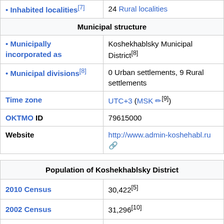|  |  |
| --- | --- |
| • Inhabited localities[7] | 24 Rural localities |
| Municipal structure |  |
| • Municipally incorporated as | Koshekhablsky Municipal District[8] |
| • Municipal divisions[8] | 0 Urban settlements, 9 Rural settlements |
| Time zone | UTC+3 (MSK [9]) |
| OKTMO ID | 79615000 |
| Website | http://www.admin-koshehabl.ru |
|  |  |
| --- | --- |
| Population of Koshekhablsky District |  |
| 2010 Census | 30,422[5] |
| 2002 Census | 31,296[10] |
| 1989 Census | 29,766[11] |
| 1979 Census | 30,654[12] |